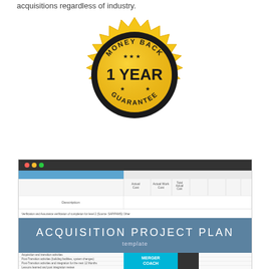acquisitions regardless of industry.
[Figure (illustration): Gold/black money back guarantee badge with text 'MONEY BACK 1 YEAR GUARANTEE' and star decorations]
[Figure (screenshot): Screenshot of Acquisition Project Plan template spreadsheet with blue header bar reading 'ACQUISITION PROJECT PLAN template' and Merger Coach logo at bottom]